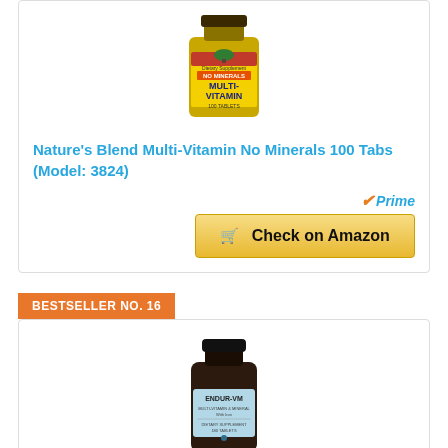[Figure (photo): Nature's Blend Multi-Vitamin No Minerals 100 Tablets product bottle with yellow label]
Nature's Blend Multi-Vitamin No Minerals 100 Tabs (Model: 3824)
[Figure (logo): Amazon Prime badge with orange checkmark]
Check on Amazon
BESTSELLER NO. 16
[Figure (photo): Endur-VM Multi-Vitamin supplement bottle with dark brown bottle and light blue label]